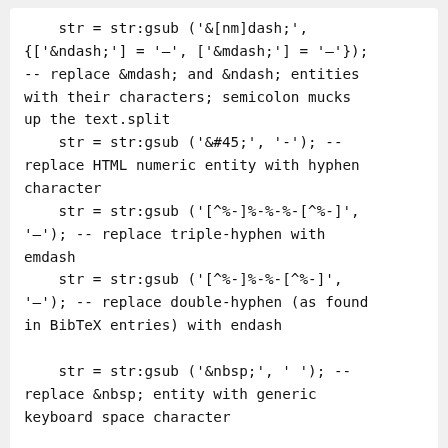str = str:gsub ('&[nm]dash;', {['&ndash;'] = '–', ['&mdash;'] = '—'}); -- replace &mdash; and &ndash; entities with their characters; semicolon mucks up the text.split
    str = str:gsub ('&#45;', '-'); -- replace HTML numeric entity with hyphen character
    str = str:gsub ('[^%-]%-%-%-[^%-]', '—'); -- replace triple-hyphen with emdash
    str = str:gsub ('[^%-]%-%-[^%-]', '–'); -- replace double-hyphen (as found in BibTeX entries) with endash

    str = str:gsub ('&nbsp;', ' '); -- replace &nbsp; entity with generic keyboard space character

    local out = {};
    local list = mw.text.split (str,
'%s*[.;]%s*');